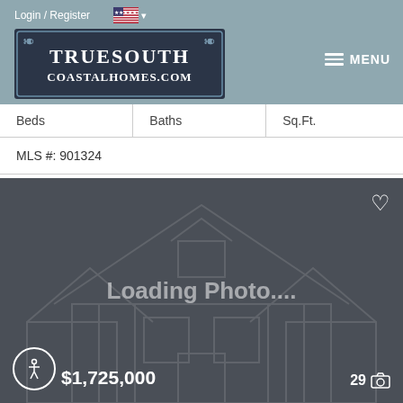Login / Register
[Figure (logo): TrueSouth CoastalHomes.com logo — dark navy box with white serif text and decorative scroll corners]
MENU
| Beds | Baths | Sq.Ft. |
| --- | --- | --- |
MLS #: 901324
[Figure (photo): Loading Photo... placeholder with house outline graphic, heart icon at top right, accessibility icon at bottom left, price $1,725,000, photo count 29]
$1,725,000
29